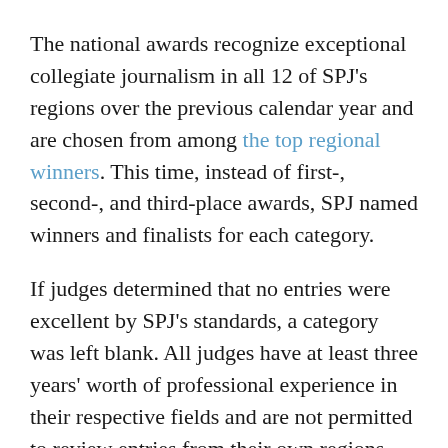The national awards recognize exceptional collegiate journalism in all 12 of SPJ's regions over the previous calendar year and are chosen from among the top regional winners. This time, instead of first-, second-, and third-place awards, SPJ named winners and finalists for each category.
If judges determined that no entries were excellent by SPJ's standards, a category was left blank. All judges have at least three years' worth of professional experience in their respective fields and are not permitted to review entries from their own regions.
School divisions were based on cumulative undergraduate and graduate enrollment, with large schools having a minimum of 10,000 registered students. For some categories, school size was not a factor.
The winners in each category will be recognized at the Excellence in Journalism 2014 conference in Nashville, Tennessee, Sept. 4-6. A full list of MOE Award recipients